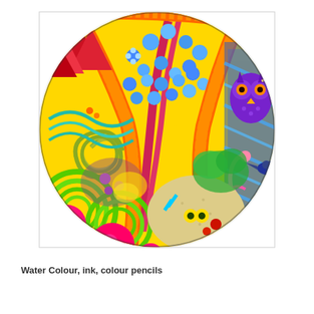[Figure (illustration): A vibrant, colorful circular artwork created with water colour, ink, and colour pencils. The circular composition features a psychedelic mix of elements: orange twisted rope/vine shapes radiating from the center, a tree with blue flowers on a yellow background, a purple owl with orange eyes in the upper right, blue birds and fish on the right side, pink and green spiral lollipop shapes on the left, green concentric circles with hot pink orbs at the bottom left, red mountain/tent shapes at the top left, and a mix of animals and fantastical elements throughout. The piece is highly detailed with vivid rainbow colors against a white background.]
Water Colour, ink, colour pencils